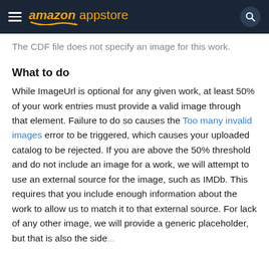amazon appstore
The CDF file does not specify an image for this work.
What to do
While ImageUrl is optional for any given work, at least 50% of your work entries must provide a valid image through that element. Failure to do so causes the Too many invalid images error to be triggered, which causes your uploaded catalog to be rejected. If you are above the 50% threshold and do not include an image for a work, we will attempt to use an external source for the image, such as IMDb. This requires that you include enough information about the work to allow us to match it to that external source. For lack of any other image, we will provide a generic placeholder, but that is also the side...